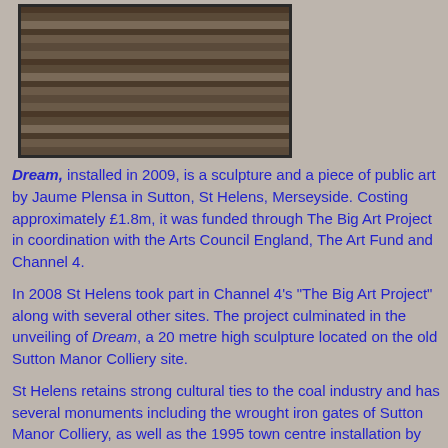[Figure (photo): Photograph of layered stone or wooden planks, dark brown tones, framed with a dark border. Appears to be a close-up of the Dream sculpture or related stonework.]
Dream, installed in 2009, is a sculpture and a piece of public art by Jaume Plensa in Sutton, St Helens, Merseyside. Costing approximately £1.8m, it was funded through The Big Art Project in coordination with the Arts Council England, The Art Fund and Channel 4.
In 2008 St Helens took part in Channel 4's "The Big Art Project" along with several other sites. The project culminated in the unveiling of Dream, a 20 metre high sculpture located on the old Sutton Manor Colliery site.
St Helens retains strong cultural ties to the coal industry and has several monuments including the wrought iron gates of Sutton Manor Colliery, as well as the 1995 town centre installation by Thompson Dagnall known as "The Landings" (depicting individuals working a coal seam) and Arthur Fleischmann's Anderton Shearer monument (a piece of machinery first used at the Ravenhead Mine).